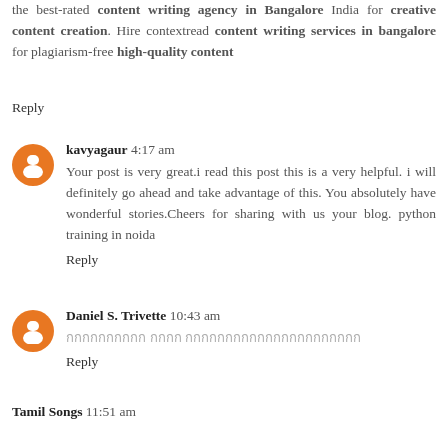the best-rated content writing agency in Bangalore India for creative content creation. Hire contextread content writing services in bangalore for plagiarism-free high-quality content
Reply
kavyagaur  4:17 am
Your post is very great.i read this post this is a very helpful. i will definitely go ahead and take advantage of this. You absolutely have wonderful stories.Cheers for sharing with us your blog. python training in noida
Reply
Daniel S. Trivette  10:43 am
[Thai text characters]
Reply
Tamil Songs  11:51 am